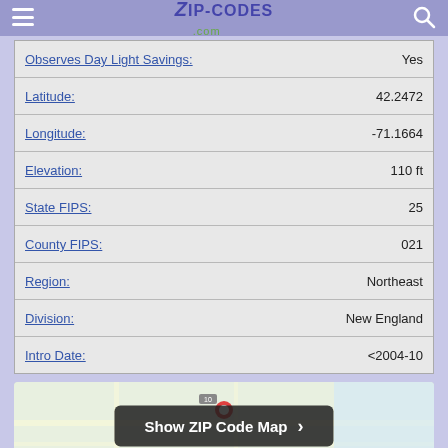Zip-Codes.com
| Field | Value |
| --- | --- |
| Observes Day Light Savings: | Yes |
| Latitude: | 42.2472 |
| Longitude: | -71.1664 |
| Elevation: | 110 ft |
| State FIPS: | 25 |
| County FIPS: | 021 |
| Region: | Northeast |
| Division: | New England |
| Intro Date: | <2004-10 |
[Figure (map): ZIP Code map preview with Show ZIP Code Map button]